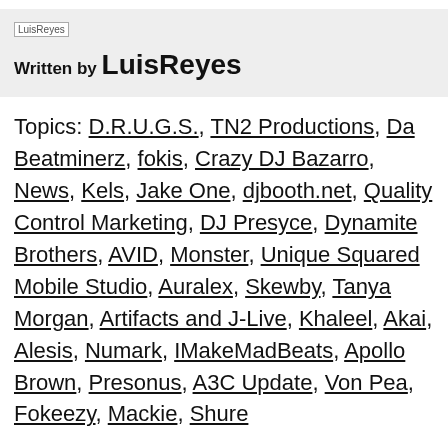[Figure (other): Author avatar placeholder image labeled LuisReyes]
Written by LuisReyes
Topics: D.R.U.G.S., TN2 Productions, Da Beatminerz, fokis, Crazy DJ Bazarro, News, Kels, Jake One, djbooth.net, Quality Control Marketing, DJ Presyce, Dynamite Brothers, AVID, Monster, Unique Squared Mobile Studio, Auralex, Skewby, Tanya Morgan, Artifacts and J-Live, Khaleel, Akai, Alesis, Numark, IMakeMadBeats, Apollo Brown, Presonus, A3C Update, Von Pea, Fokeezy, Mackie, Shure